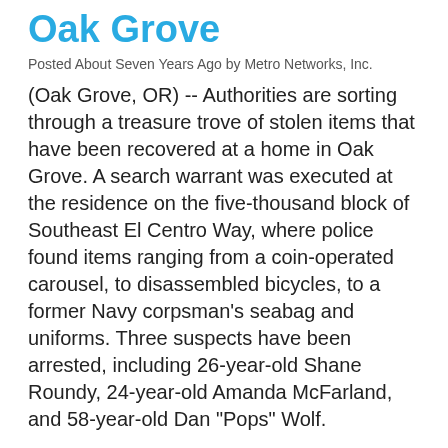Oak Grove
Posted About Seven Years Ago by Metro Networks, Inc.
(Oak Grove, OR)  --  Authorities are sorting through a treasure trove of stolen items that have been recovered at a home in Oak Grove.  A search warrant was executed at the residence on the five-thousand block of Southeast El Centro Way, where police found items ranging from a coin-operated carousel, to disassembled bicycles, to a former Navy corpsman's seabag and uniforms.  Three suspects have been arrested, including 26-year-old Shane Roundy, 24-year-old Amanda McFarland, and 58-year-old Dan "Pops" Wolf.
Gas Prices Drop
Posted About Seven Years Ago by Metro Networks, Inc.
(Portland, OR) -- Fuel prices in the Portland area